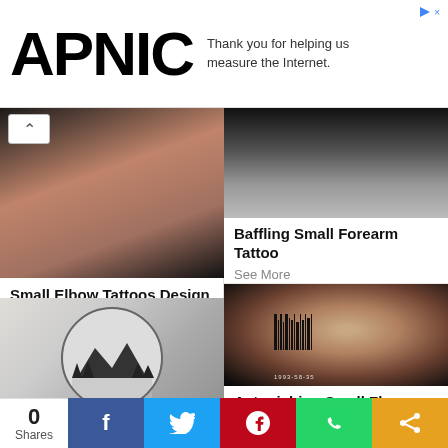APNIC — Thank you for helping us measure the Internet.
Small Elbow Tattoos Design
See More
Baffling Small Forearm Tattoo
See More
[Figure (photo): Black and white circular tattoo with mountain landscape, trees, and water on forearm]
Astonishing Small Flag Tattoo
See More
0 Shares — Facebook, Twitter, Pinterest, WhatsApp, Share